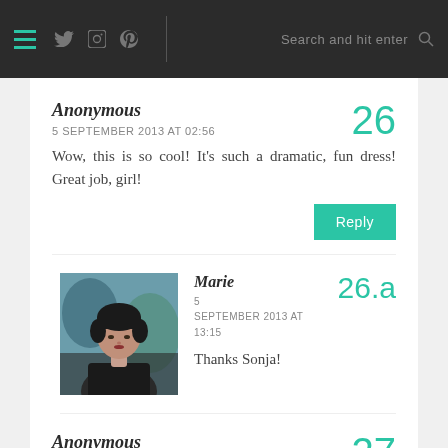Navigation header with hamburger menu, social icons (Twitter, Instagram, Pinterest), search bar
Anonymous — 26
5 SEPTEMBER 2013 AT 02:56
Wow, this is so cool! It's such a dramatic, fun dress! Great job, girl!
Reply
[Figure (photo): Avatar photo of Marie, a woman with short dark hair]
Marie — 26.a
5 SEPTEMBER 2013 AT 13:15
Thanks Sonja!
Anonymous — 27